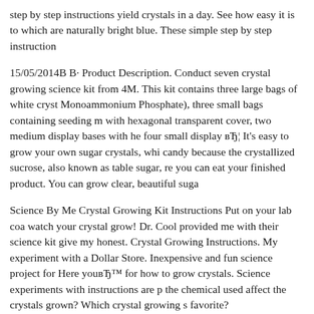step by step instructions yield crystals in a day. See how easy it is to which are naturally bright blue. These simple step by step instruction
15/05/2014В В· Product Description. Conduct seven crystal growing science kit from 4M. This kit contains three large bags of white cryst Monoammonium Phosphate), three small bags containing seeding m with hexagonal transparent cover, two medium display bases with he four small display вЂ¦ It's easy to grow your own sugar crystals, whi candy because the crystallized sucrose, also known as table sugar, re you can eat your finished product. You can grow clear, beautiful suga
Science By Me Crystal Growing Kit Instructions Put on your lab coa watch your crystal grow! Dr. Cool provided me with their science kit give my honest. Crystal Growing Instructions. My experiment with a Dollar Store. Inexpensive and fun science project for Here youвЂ™ for how to grow crystals. Science experiments with instructions are p the chemical used affect the crystals grown? Which crystal growing s favorite?
Growing crystals can really put science matters, but it is a T™